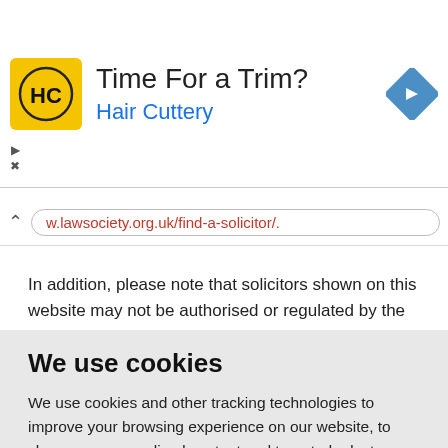[Figure (screenshot): Hair Cuttery advertisement banner with yellow HC logo, 'Time For a Trim?' headline, 'Hair Cuttery' subtitle in blue, and a blue diamond direction arrow icon on the right.]
w.lawsociety.org.uk/find-a-solicitor/.
In addition, please note that solicitors shown on this website may not be authorised or regulated by the SRA
We use cookies
We use cookies and other tracking technologies to improve your browsing experience on our website, to show you personalized content and targeted ads, to analyze our website traffic, and to understand where our visitors are coming from.